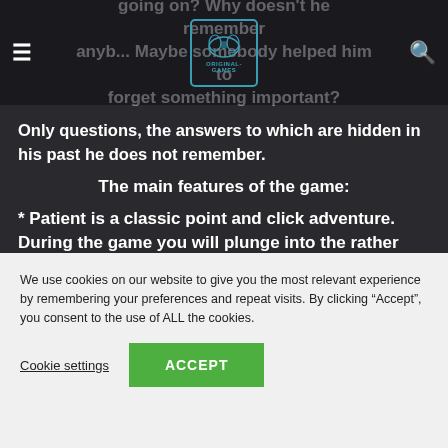going on? Why doesn't he remember anyb... Maybe somebody helped him to forget something important?
[Figure (logo): Original-Games website logo with dragon/bat icon, teal border]
Only questions, the answers to which are hidden in his past he does not remember.
The main features of the game:
* Patient is a classic point and click adventure. During the game you will plunge into the rather
We use cookies on our website to give you the most relevant experience by remembering your preferences and repeat visits. By clicking “Accept”, you consent to the use of ALL the cookies.
Cookie settings    ACCEPT